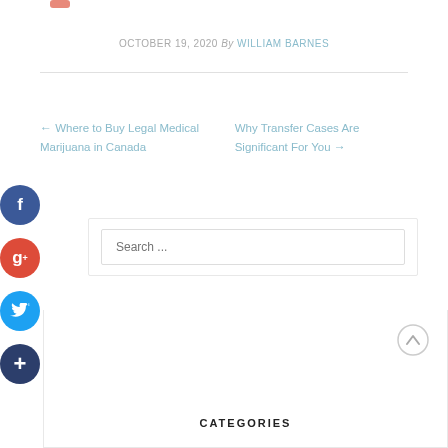OCTOBER 19, 2020 By WILLIAM BARNES
← Where to Buy Legal Medical Marijuana in Canada
Why Transfer Cases Are Significant For You →
[Figure (other): Social media share icons: Facebook, Google+, Twitter, and a plus button]
Search ...
CATEGORIES